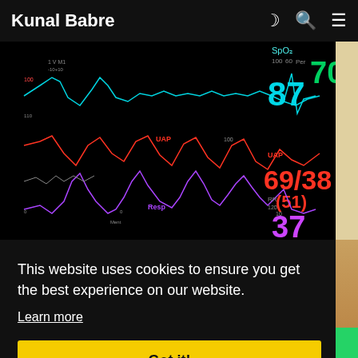Kunal Babre
[Figure (screenshot): Medical patient monitor screenshot showing waveforms in cyan (SpO2), red (UAP), and purple (Resp/RR) colors on black background. Numeric readouts: SpO2 87 in cyan, UAP 69/38(51) in red, RR 37 in purple. Labels visible: SpO2 100/60, UAP, RR 120/10, Resp, UAP, Per.]
This website uses cookies to ensure you get the best experience on our website.
Learn more
Got it!